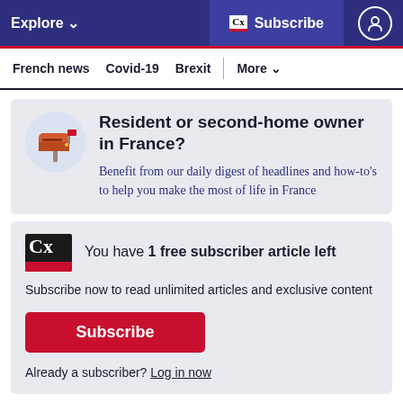Explore   Cx Subscribe
French news   Covid-19   Brexit   More
Resident or second-home owner in France?
Benefit from our daily digest of headlines and how-to's to help you make the most of life in France
You have 1 free subscriber article left
Subscribe now to read unlimited articles and exclusive content
Subscribe
Already a subscriber? Log in now